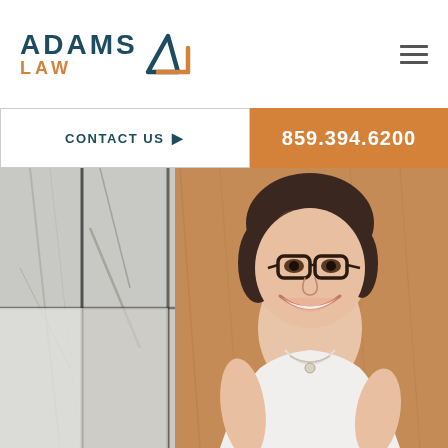[Figure (logo): Adams Law logo with teal ADAMS text, orange LAW text, and geometric A/L icon]
[Figure (other): Hamburger menu icon (three horizontal lines) in top right corner]
CONTACT US ▸
859.394.6200
[Figure (photo): Professional headshot of a smiling woman with short dark hair, glasses, wearing a white sleeveless top, standing in front of a wood-paneled wall with a glass partition on the left showing a marble-like stone texture]